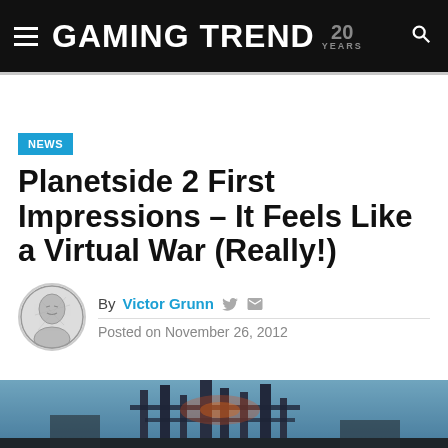GAMING TREND 20 YEARS
NEWS
Planetside 2 First Impressions – It Feels Like a Virtual War (Really!)
By Victor Grunn
Posted on November 26, 2012
[Figure (photo): Screenshot from Planetside 2 showing a large mechanical structure with sci-fi elements in a battlefield setting]